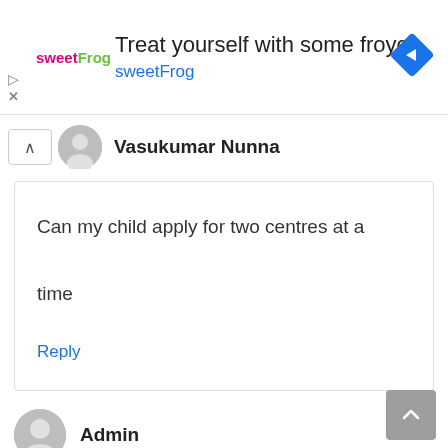[Figure (screenshot): sweetFrog advertisement banner: logo with text 'sweetFrog', headline 'Treat yourself with some froyo', subtext 'sweetFrog', blue diamond direction icon on right, play and close controls on left]
Vasukumar Nunna
Can my child apply for two centres at a time
Reply
Admin